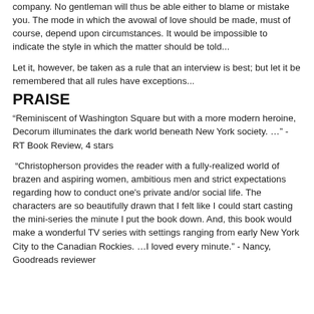company. No gentleman will thus be able either to blame or mistake you. The mode in which the avowal of love should be made, must of course, depend upon circumstances. It would be impossible to indicate the style in which the matter should be told...
Let it, however, be taken as a rule that an interview is best; but let it be remembered that all rules have exceptions...
PRAISE
“Reminiscent of Washington Square but with a more modern heroine, Decorum illuminates the dark world beneath New York society. …” - RT Book Review, 4 stars
“Christopherson provides the reader with a fully-realized world of brazen and aspiring women, ambitious men and strict expectations regarding how to conduct one’s private and/or social life. The characters are so beautifully drawn that I felt like I could start casting the mini-series the minute I put the book down. And, this book would make a wonderful TV series with settings ranging from early New York City to the Canadian Rockies. …I loved every minute.” - Nancy, Goodreads reviewer